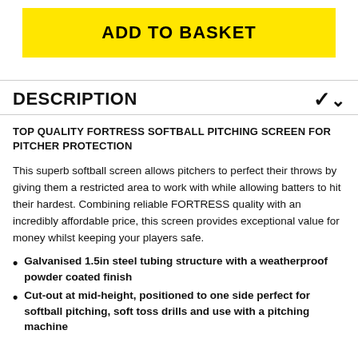ADD TO BASKET
DESCRIPTION
TOP QUALITY FORTRESS SOFTBALL PITCHING SCREEN FOR PITCHER PROTECTION
This superb softball screen allows pitchers to perfect their throws by giving them a restricted area to work with while allowing batters to hit their hardest. Combining reliable FORTRESS quality with an incredibly affordable price, this screen provides exceptional value for money whilst keeping your players safe.
Galvanised 1.5in steel tubing structure with a weatherproof powder coated finish
Cut-out at mid-height, positioned to one side perfect for softball pitching, soft toss drills and use with a pitching machine